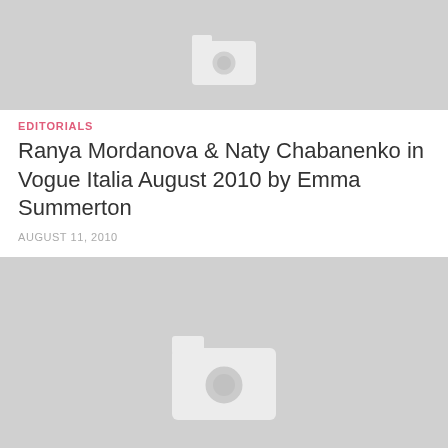[Figure (photo): Placeholder image with camera icon at top of page (partially visible)]
EDITORIALS
Ranya Mordanova & Naty Chabanenko in Vogue Italia August 2010 by Emma Summerton
AUGUST 11, 2010
[Figure (photo): Placeholder image with camera icon for second article]
HAIR CARE